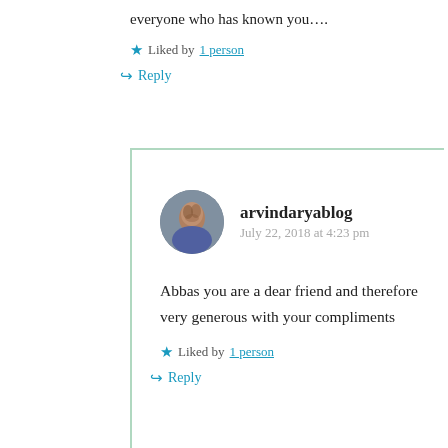everyone who has known you….
★ Liked by 1 person
↳ Reply
arvindaryablog
July 22, 2018 at 4:23 pm
Abbas you are a dear friend and therefore very generous with your compliments
★ Liked by 1 person
↳ Reply